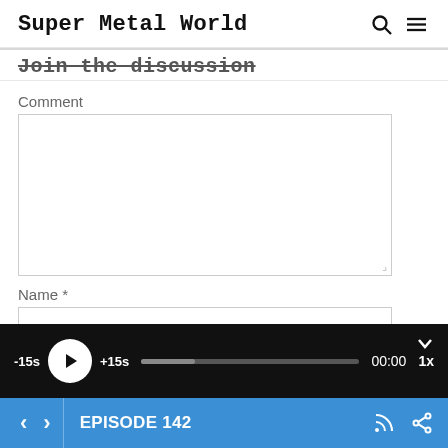Super Metal World
Join the discussion
Comment
Name *
[Figure (screenshot): Audio podcast player bar: -15s skip, play button, +15s skip, progress bar, time 00:00, 1x speed, collapse chevron]
EPISODE 142